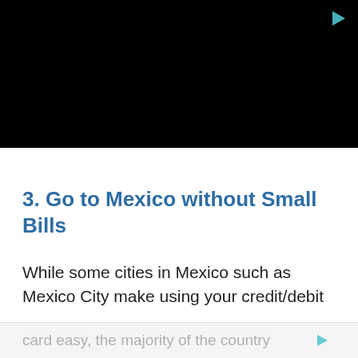[Figure (other): Black video player area with a small play/forward icon in the top-right corner]
3. Go to Mexico without Small Bills
While some cities in Mexico such as Mexico City make using your credit/debit card easy, the majority of the country